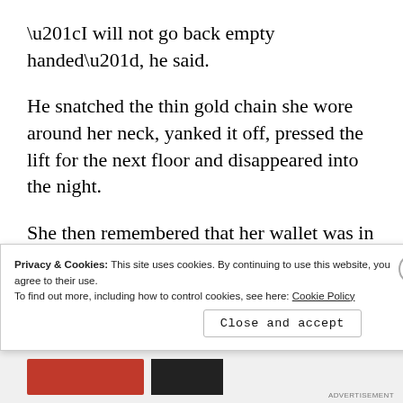“I will not go back empty handed”, he said.
He snatched the thin gold chain she wore around her neck, yanked it off, pressed the lift for the next floor and disappeared into the night.
She then remembered that her wallet was in
Privacy & Cookies: This site uses cookies. By continuing to use this website, you agree to their use.
To find out more, including how to control cookies, see here: Cookie Policy
Close and accept